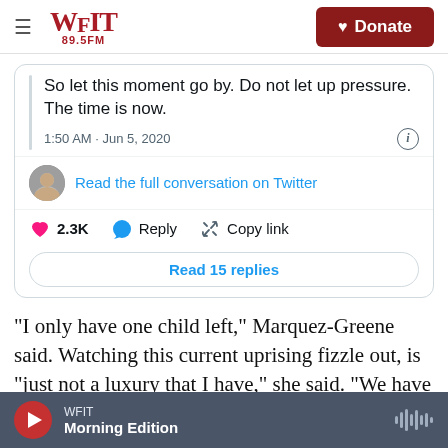WFIT 89.5FM | Donate
[Figure (screenshot): Embedded tweet screenshot showing text 'So let this moment go by. Do not let up pressure. The time is now.' with timestamp 1:50 AM · Jun 5, 2020, a profile avatar, link 'Read the full conversation on Twitter', 2.3K likes, Reply, Copy link actions, and a 'Read 15 replies' button.]
"I only have one child left," Marquez-Greene said. Watching this current uprising fizzle out, is "just not a luxury that I have," she said. "We have an opportunity, sadly given to us by the cries of a man
WFIT · Morning Edition